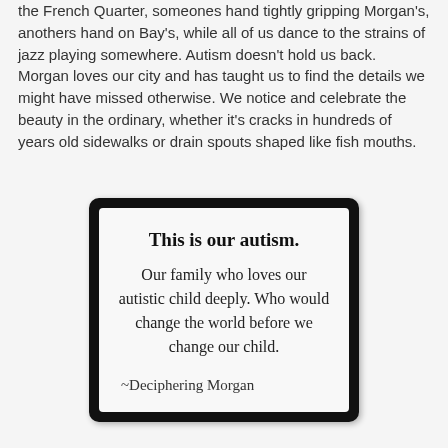the French Quarter, someones hand tightly gripping Morgan's, anothers hand on Bay's, while all of us dance to the strains of jazz playing somewhere. Autism doesn't hold us back. Morgan loves our city and has taught us to find the details we might have missed otherwise. We notice and celebrate the beauty in the ordinary, whether it's cracks in hundreds of years old sidewalks or drain spouts shaped like fish mouths.
[Figure (other): Framed quote card with black border and white background. Bold text reads 'This is our autism.' followed by 'Our family who loves our autistic child deeply. Who would change the world before we change our child.' with attribution '~Deciphering Morgan']